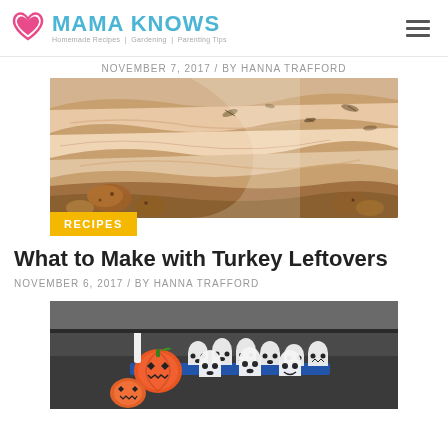MAMA KNOWS — Homemade Recipes | Gardening | Parenting Tips
NOVEMBER 7, 2017 / BY HANNA TRAFFORD
[Figure (photo): Close-up photo of roasted turkey meat with herbs and seasonings, showing sliced turkey breast with crispy skin and roasted vegetables.]
RECIPES
What to Make with Turkey Leftovers
NOVEMBER 6, 2017 / BY HANNA TRAFFORD
[Figure (photo): Photo showing a Halloween-themed bowling set with ghost-shaped white bottles with black painted faces, a jack-o-lantern pumpkin, and a small rocket/candle, on a dark surface.]